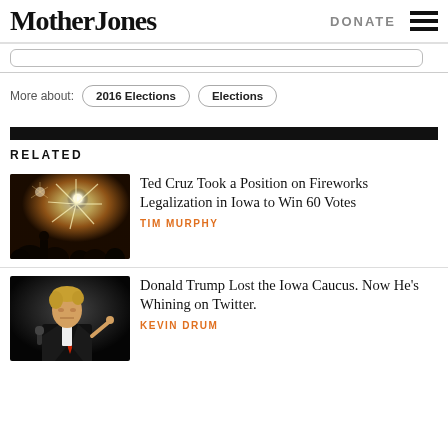Mother Jones
DONATE
More about: 2016 Elections  Elections
RELATED
Ted Cruz Took a Position on Fireworks Legalization in Iowa to Win 60 Votes
TIM MURPHY
Donald Trump Lost the Iowa Caucus. Now He's Whining on Twitter.
KEVIN DRUM